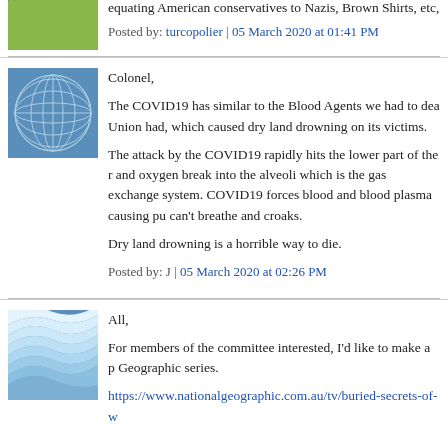equating American conservatives to Nazis, Brown Shirts, etc,
Posted by: turcopolier | 05 March 2020 at 01:41 PM
[Figure (illustration): Avatar icon with globe/grid pattern, blue and white]
Colonel, The COVID19 has similar to the Blood Agents we had to deal with the Soviet Union had, which caused dry land drowning on its victims. The attack by the COVID19 rapidly hits the lower part of the respiratory and oxygen break into the alveoli which is the gas exchange system. COVID19 forces blood and blood plasma causing pu can't breathe and croaks. Dry land drowning is a horrible way to die.
Posted by: J | 05 March 2020 at 02:26 PM
[Figure (illustration): Avatar icon with layered wave/stripe pattern, blue and white]
All, For members of the committee interested, I'd like to make a p Geographic series.
https://www.nationalgeographic.com.au/tv/buried-secrets-of-w